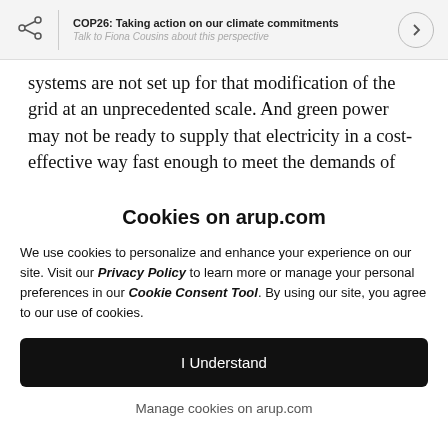COP26: Taking action on our climate commitments
Talk to Fiona Cousins about this perspective
systems are not set up for that modification of the grid at an unprecedented scale. And green power may not be ready to supply that electricity in a cost-effective way fast enough to meet the demands of
Cookies on arup.com
We use cookies to personalize and enhance your experience on our site. Visit our Privacy Policy to learn more or manage your personal preferences in our Cookie Consent Tool. By using our site, you agree to our use of cookies.
I Understand
Manage cookies on arup.com